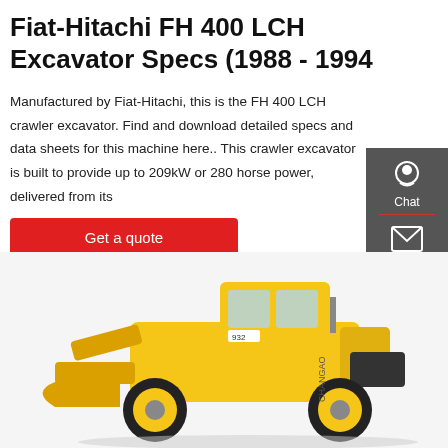Fiat-Hitachi FH 400 LCH Excavator Specs (1988 - 1994
Manufactured by Fiat-Hitachi, this is the FH 400 LCH crawler excavator. Find and download detailed specs and data sheets for this machine here.. This crawler excavator is built to provide up to 209kW or 280 horse power, delivered from its
Get a quote
[Figure (photo): Yellow wheeled loader / construction machine (number 932) shown from the side, parked on white background]